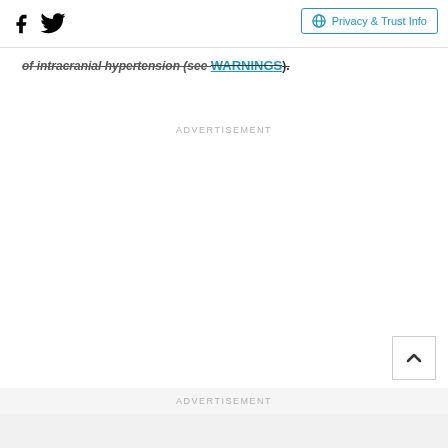Facebook Twitter Privacy & Trust Info
of intracranial hypertension (see WARNINGS).
ADVERTISEMENT
[Figure (other): Empty advertisement placeholder area]
ADVERTISEMENT